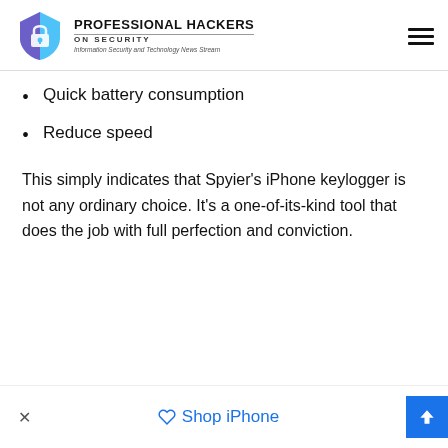Professional Hackers On Security — Information Security and Technology News Stream
Quick battery consumption
Reduce speed
This simply indicates that Spyier's iPhone keylogger is not any ordinary choice. It's a one-of-its-kind tool that does the job with full perfection and conviction.
× Shop iPhone ▲